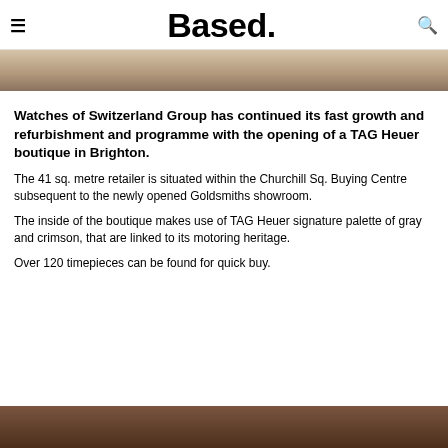≡  Based.  🔍
[Figure (photo): Top portion of an interior retail space, light-colored stone or marble flooring visible]
Watches of Switzerland Group has continued its fast growth and refurbishment and programme with the opening of a TAG Heuer boutique in Brighton.
The 41 sq. metre retailer is situated within the Churchill Sq. Buying Centre subsequent to the newly opened Goldsmiths showroom.
The inside of the boutique makes use of TAG Heuer signature palette of gray and crimson, that are linked to its motoring heritage.
Over 120 timepieces can be found for quick buy.
[Figure (photo): Bottom portion showing a dark brown background with what appears to be a watch or jewelry item]